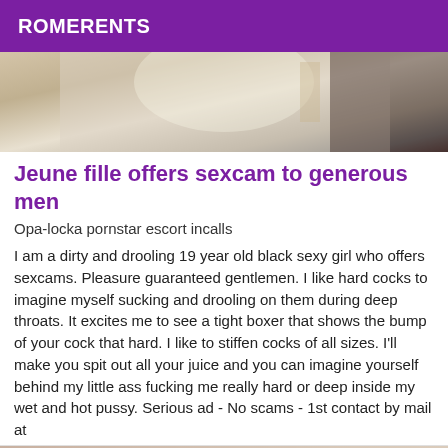ROMERENTS
[Figure (photo): Partial photo of a person, cropped top portion showing white fabric/clothing]
Jeune fille offers sexcam to generous men
Opa-locka pornstar escort incalls
I am a dirty and drooling 19 year old black sexy girl who offers sexcams. Pleasure guaranteed gentlemen. I like hard cocks to imagine myself sucking and drooling on them during deep throats. It excites me to see a tight boxer that shows the bump of your cock that hard. I like to stiffen cocks of all sizes. I'll make you spit out all your juice and you can imagine yourself behind my little ass fucking me really hard or deep inside my wet and hot pussy. Serious ad - No scams - 1st contact by mail at
[Figure (photo): Bottom photo strip with Verified badge and emoji face visible]